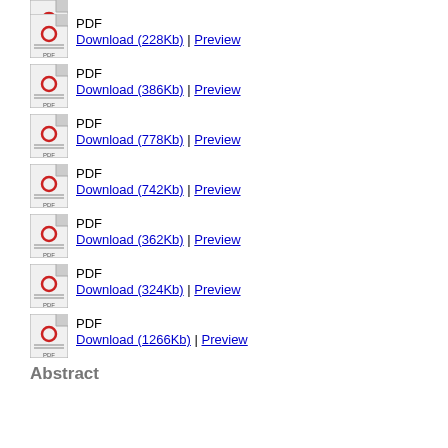[Figure (other): PDF file icon (partial, top cropped)]
PDF Download (228Kb) | Preview
PDF Download (386Kb) | Preview
PDF Download (778Kb) | Preview
PDF Download (742Kb) | Preview
PDF Download (362Kb) | Preview
PDF Download (324Kb) | Preview
PDF Download (1266Kb) | Preview
Abstract